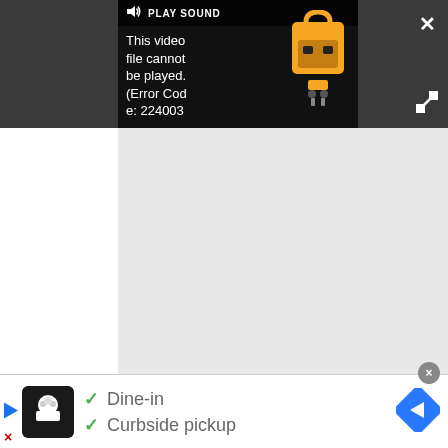[Figure (screenshot): Video player embedded in dark gray bar showing error message: 'This video file cannot be played. (Error Code: 224003)' with a yellow electric truck icon on the right. A 'PLAY SOUND' control is visible at the top of the player.]
[Figure (screenshot): Gray content area below the video player, appearing as an empty light-gray box.]
[Figure (screenshot): Advertisement banner at the bottom showing a restaurant logo (chef icon on black background), two green checkmarks with text 'Dine-in' and 'Curbside pickup', and a blue diamond-shaped navigation arrow icon on the right.]